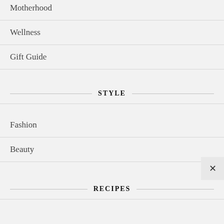Motherhood
Wellness
Gift Guide
STYLE
Fashion
Beauty
RECIPES